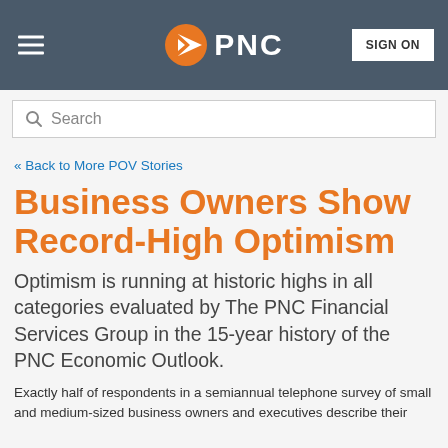PNC — SIGN ON
Search
« Back to More POV Stories
Business Owners Show Record-High Optimism
Optimism is running at historic highs in all categories evaluated by The PNC Financial Services Group in the 15-year history of the PNC Economic Outlook.
Exactly half of respondents in a semiannual telephone survey of small and medium-sized business owners and executives describe their